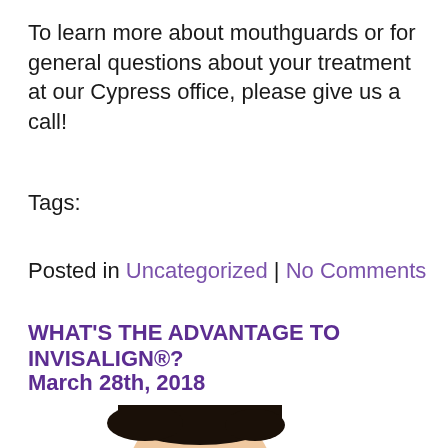To learn more about mouthguards or for general questions about your treatment at our Cypress office, please give us a call!
Tags:
Posted in Uncategorized | No Comments
WHAT'S THE ADVANTAGE TO INVISALIGN®?
March 28th, 2018
[Figure (photo): Partial photo of a person's face/head showing dark hair and forehead, cropped at bottom of page]